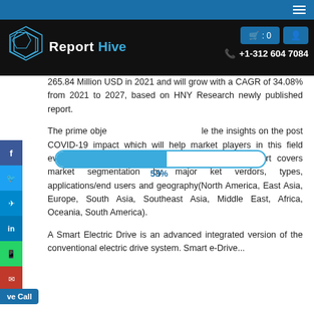Report Hive — navigation header with logo, cart button, user button, phone +1-312 604 7084
265.84 Million USD in 2021 and will grow with a CAGR of 34.08% from 2021 to 2027, based on HNY Research newly published report.
The prime objective of this report is to provide the insights on the post COVID-19 impact which will help market players in this field evaluate their business approaches. Also, this report covers market segmentation by major market verdors, types, applications/end users and geography(North America, East Asia, Europe, South Asia, Southeast Asia, Middle East, Africa, Oceania, South America).
A Smart Electric Drive is an advanced integrated version of the conventional electric drive system. Smart e-Drive...